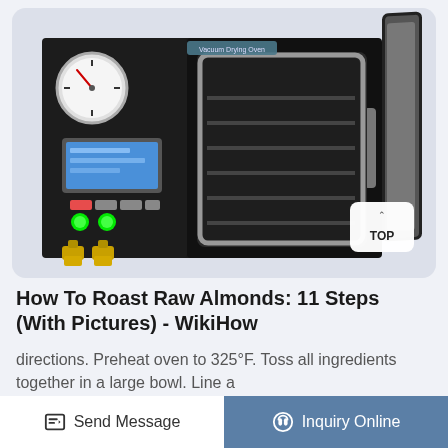[Figure (photo): Vacuum drying oven with open door, showing interior shelves, pressure gauge, LCD control panel, green indicator lights, and yellow valve fittings. A 'TOP' button overlay is visible in the bottom-right corner of the image.]
How To Roast Raw Almonds: 11 Steps (With Pictures) - WikiHow
directions. Preheat oven to 325°F. Toss all ingredients together in a large bowl. Line a
Send Message
Inquiry Online